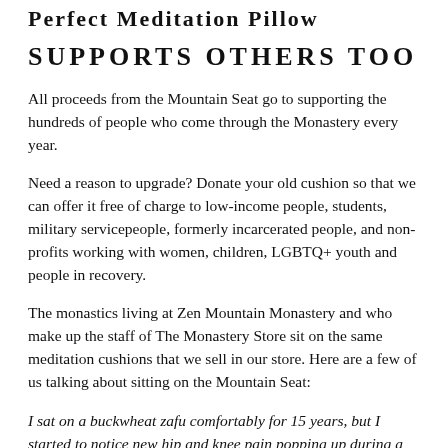Perfect Meditation Pillow
SUPPORTS OTHERS TOO
All proceeds from the Mountain Seat go to supporting the hundreds of people who come through the Monastery every year.
Need a reason to upgrade? Donate your old cushion so that we can offer it free of charge to low-income people, students, military servicepeople, formerly incarcerated people, and non-profits working with women, children, LGBTQ+ youth and people in recovery.
The monastics living at Zen Mountain Monastery and who make up the staff of The Monastery Store sit on the same meditation cushions that we sell in our store. Here are a few of us talking about sitting on the Mountain Seat:
I sat on a buckwheat zafu comfortably for 15 years, but I started to notice new hip and knee pain popping up during a recent